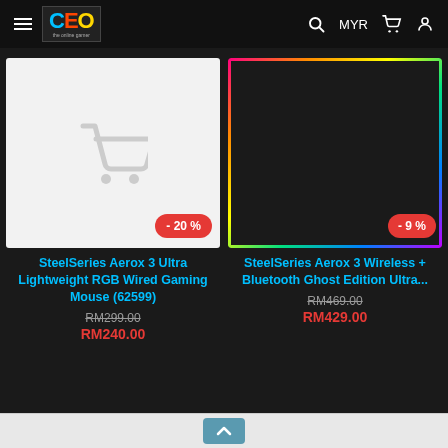CEO - Navigation header with logo, MYR, cart, and user icons
[Figure (photo): SteelSeries Aerox 3 product card with placeholder image and -20% discount badge]
SteelSeries Aerox 3 Ultra Lightweight RGB Wired Gaming Mouse (62599)
RM299.00
RM240.00
[Figure (photo): SteelSeries Aerox 3 Wireless Ghost Edition gaming mouse with RGB lighting, rainbow border, SteelSeries and CEO logos, -9% discount badge]
SteelSeries Aerox 3 Wireless + Bluetooth Ghost Edition Ultra...
RM469.00
RM429.00